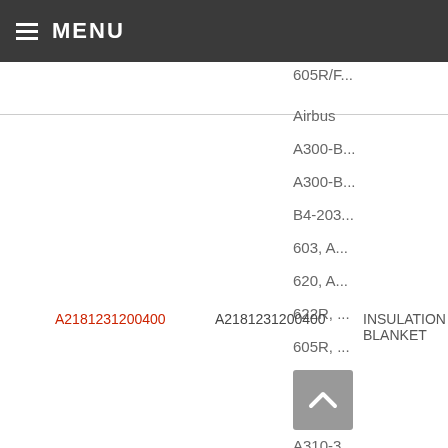≡ MENU
605R/F...
Airbus
A300-B...
A300-B...
B4-203...
603, A...
620, A...
622R, ...
605R, ...
605R/F...
A2181231200400  A2181231200400  INSULATION BLANKET
A310-2...
A310-3...
A318X...
A319X...
A318X...